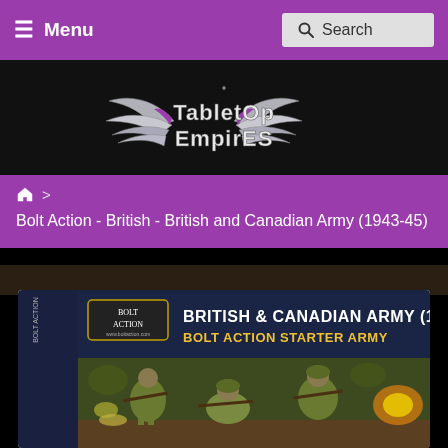≡ Menu   Search
[Figure (logo): Tabletop Empires logo with wings and stylized text on black background]
🏠 > Bolt Action - British - British and Canadian Army (1943-45) S
[Figure (photo): Product box image: British & Canadian Army (1943-45) Bolt Action Starter Army box set showing soldiers in combat]